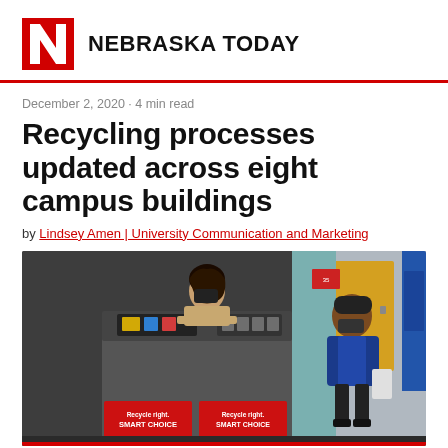NEBRASKA TODAY
December 2, 2020 · 4 min read
Recycling processes updated across eight campus buildings
by Lindsey Amen | University Communication and Marketing
[Figure (photo): Two masked students near a recycling station labeled 'Recycle right. SMART CHOICE.' with a large grey machine and red bins. One student stands behind the machine, another enters from the right holding a bag.]